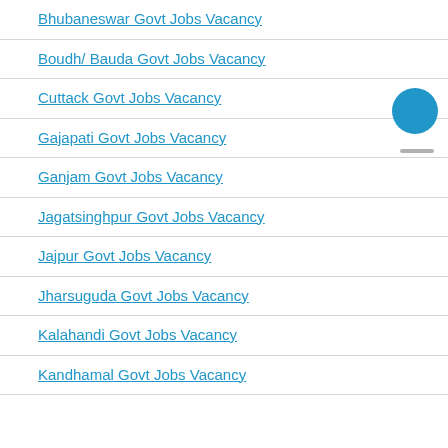Bhubaneswar Govt Jobs Vacancy
Boudh/ Bauda Govt Jobs Vacancy
Cuttack Govt Jobs Vacancy
Gajapati Govt Jobs Vacancy
Ganjam Govt Jobs Vacancy
Jagatsinghpur Govt Jobs Vacancy
Jajpur Govt Jobs Vacancy
Jharsuguda Govt Jobs Vacancy
Kalahandi Govt Jobs Vacancy
Kandhamal Govt Jobs Vacancy